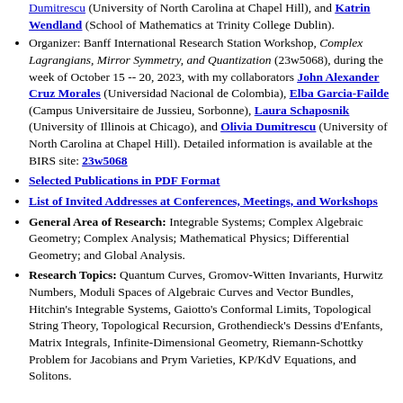(University of North Carolina at Chapel Hill), and Katrin Wendland (School of Mathematics at Trinity College Dublin).
Organizer: Banff International Research Station Workshop, Complex Lagrangians, Mirror Symmetry, and Quantization (23w5068), during the week of October 15 -- 20, 2023, with my collaborators John Alexander Cruz Morales (Universidad Nacional de Colombia), Elba Garcia-Failde (Campus Universitaire de Jussieu, Sorbonne), Laura Schaposnik (University of Illinois at Chicago), and Olivia Dumitrescu (University of North Carolina at Chapel Hill). Detailed information is available at the BIRS site: 23w5068
Selected Publications in PDF Format
List of Invited Addresses at Conferences, Meetings, and Workshops
General Area of Research: Integrable Systems; Complex Algebraic Geometry; Complex Analysis; Mathematical Physics; Differential Geometry; and Global Analysis.
Research Topics: Quantum Curves, Gromov-Witten Invariants, Hurwitz Numbers, Moduli Spaces of Algebraic Curves and Vector Bundles, Hitchin's Integrable Systems, Gaiotto's Conformal Limits, Topological String Theory, Topological Recursion, Grothendieck's Dessins d'Enfants, Matrix Integrals, Infinite-Dimensional Geometry, Riemann-Schottky Problem for Jacobians and Prym Varieties, KP/KdV Equations, and Solitons.